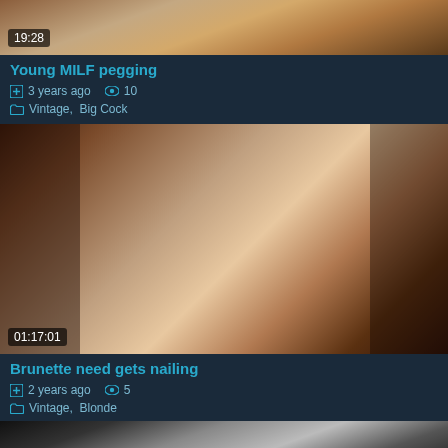[Figure (screenshot): Video thumbnail top partial, warm skin tones]
19:28
Young MILF pegging
3 years ago   10
Vintage,  Big Cock
[Figure (screenshot): Video thumbnail showing group scene, duration 01:17:01]
01:17:01
Brunette need gets nailing
2 years ago   5
Vintage,  Blonde
[Figure (screenshot): Video thumbnail bottom partial, dark with figure]